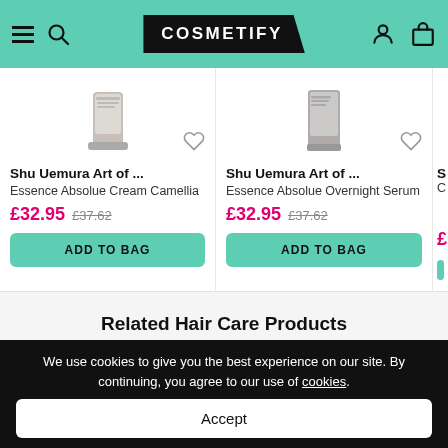[Figure (screenshot): Cosmetify e-commerce website header with teal/mint background, hamburger menu, search icon, Cosmetify logo in black parallelogram shape, user and bag icons]
[Figure (photo): Product card: Shu Uemura Art of... Essence Absolue Cream Camellia, sale price £32.95, original price £37.62, ADD TO BAG button]
[Figure (photo): Product card: Shu Uemura Art of... Essence Absolue Overnight Serum, sale price £32.95, original price £37.62, ADD TO BAG button]
Related Hair Care Products
We use cookies to give you the best experience on our site. By continuing, you agree to our use of cookies.
Accept